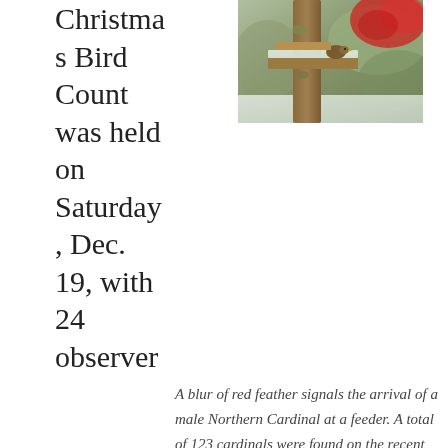Christmas Bird Count was held on Saturday, Dec. 19, with 24 observers in six parties plus one feeder watcher.
[Figure (photo): A bird at a wooden feeder with a blur of red feathers from an arriving male Northern Cardinal, snow visible in background.]
A blur of red feather signals the arrival of a male Northern Cardinal at a feeder. A total of 123 cardinals were found on the recent Elizabethton CBC.
s in six parties plus one feeder watcher.  A total of 73 species was tallied, with an additional four count-week species. This is slightly above the recent 30-year average of 71.7 species. The all-time high for this CBC was 80 species in 2012.
Long-time count compiler Rick Knight noted that some of the highlights from this year's Elizabethton CBC included: five Blue-winged Teal, which represented only the fourth time this duck has been found for this count, as well as  Northern